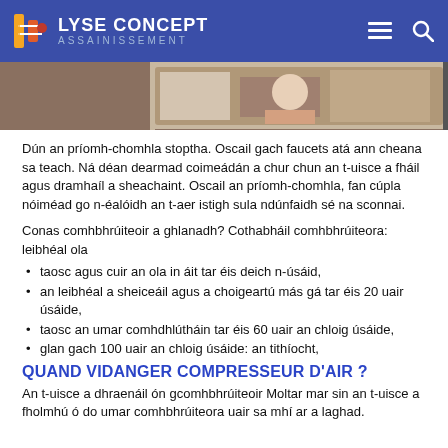LYSE CONCEPT ASSAINISSEMENT
[Figure (photo): Partial view of a person working, cropped photo strip]
Dún an príomh-chomhla stoptha. Oscail gach faucets atá ann cheana sa teach. Ná déan dearmad coimeádán a chur chun an t-uisce a fháil agus dramhaíl a sheachaint. Oscail an príomh-chomhla, fan cúpla nóiméad go n-éalóidh an t-aer istigh sula ndúnfaidh sé na sconnai.
Conas comhbhrúiteoir a ghlanadh? Cothabháil comhbhrúiteora: leibhéal ola
taosc agus cuir an ola in áit tar éis deich n-úsáid,
an leibhéal a sheiceáil agus a choigeartú más gá tar éis 20 uair úsáide,
taosc an umar comhdhlútháin tar éis 60 uair an chloig úsáide,
glan gach 100 uair an chloig úsáide: an tithíocht,
QUAND VIDANGER COMPRESSEUR D'AIR ?
An t-uisce a dhraenáil ón gcomhbhrúiteoir Moltar mar sin an t-uisce a fholmhú ó do umar comhbhrúiteora uair sa mhí ar a laghad.